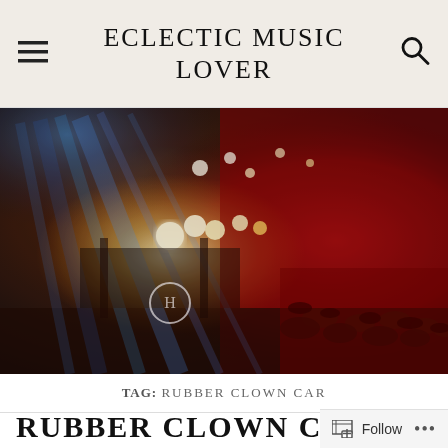ECLECTIC MUSIC LOVER
[Figure (photo): Concert photo with dramatic stage lighting — blue spotlights from upper left, bright warm stage lights center, red atmospheric haze on right side, crowd visible at bottom right, circular logo watermark visible lower-center left]
TAG: RUBBER CLOWN CAR
RUBBER CLOWN CAR
Follow  ...